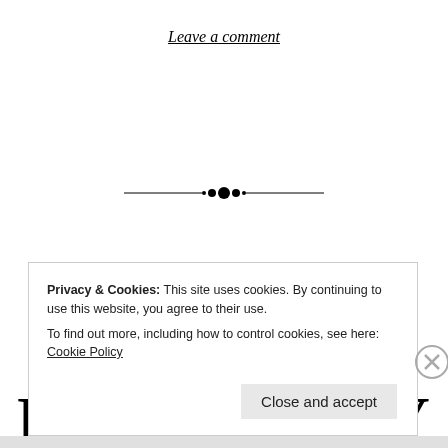Leave a comment
[Figure (illustration): Decorative horizontal divider with ornamental diamond/dot motifs in the center, flanked by thin lines]
WORLD MENTAL HEALTH DAY
Privacy & Cookies: This site uses cookies. By continuing to use this website, you agree to their use.
To find out more, including how to control cookies, see here: Cookie Policy
Close and accept